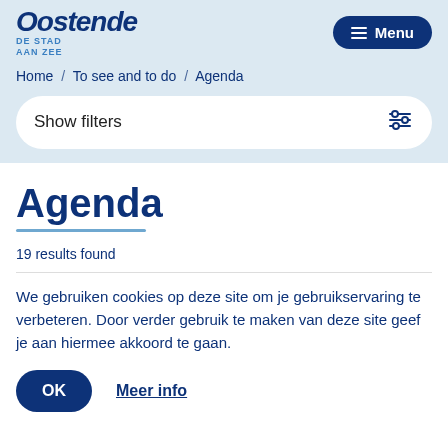[Figure (logo): Oostende De Stad Aan Zee city logo]
≡ Menu
Home / To see and to do / Agenda
Show filters
Agenda
19 results found
We gebruiken cookies op deze site om je gebruikservaring te verbeteren. Door verder gebruik te maken van deze site geef je aan hiermee akkoord te gaan.
OK
Meer info